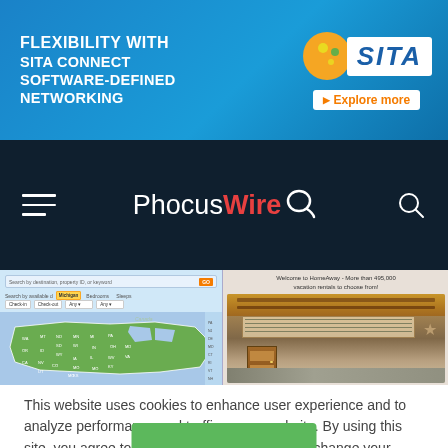[Figure (screenshot): SITA advertisement banner: 'FLEXIBILITY WITH SITA CONNECT SOFTWARE-DEFINED NETWORKING' with SITA logo and 'Explore more' link on blue gradient background]
[Figure (screenshot): PhocusWire website navigation bar with hamburger menu, PhocusWire logo in white/red, and search icon on dark navy background]
[Figure (screenshot): Screenshot strip showing HomeAway/vacation rental website with map of USA on left and interior property photo on right, with text 'Welcome to HomeAway - More than 495,000 vacation rentals to choose from!']
This website uses cookies to enhance user experience and to analyze performance and traffic on our website. By using this site, you agree to the use of cookies. You may change your cookie settings at any time, but the site may not function properly.  Cookie Policy